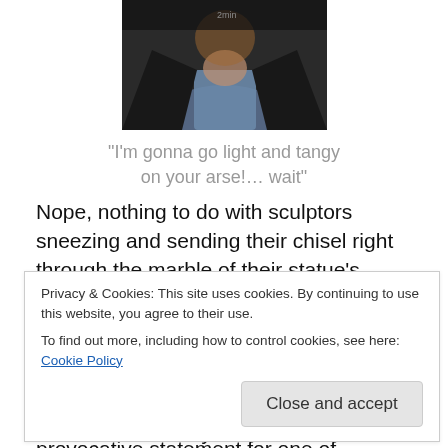[Figure (photo): Partial photo of a person wearing a dark jacket and light blue shirt, cropped to show neck/shoulder area]
“I’m gonna go light and tangy on your arse!… wait”
Nope, nothing to do with sculptors sneezing and sending their chisel right through the marble of their statue’s shoulder, this old phrase is actually to do with woodchips and manly men, spoilin’ for a fight. In 18th century America, when two fellas were squaring up to do pugilism on eachother, it was a provocative statement for one of
about with a chip literally on the shoulder was ye olde
Privacy & Cookies: This site uses cookies. By continuing to use this website, you agree to their use.
To find out more, including how to control cookies, see here: Cookie Policy
Close and accept